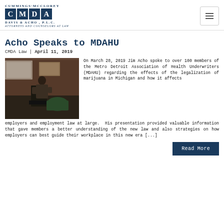Cummings McClorey Davis & Acho, P.L.C. - Attorneys and Counselors At Law - CMDA Logo
Acho Speaks to MDAHU
CMDA Law | April 11, 2019
[Figure (photo): Jim Acho speaking at a podium in front of an audience in a darkened room with brick walls]
On March 28, 2019 Jim Acho spoke to over 100 members of the Metro Detroit Association of Health Underwriters (MDAHU) regarding the effects of the legalization of marijuana in Michigan and how it affects employers and employment law at large. His presentation provided valuable information that gave members a better understanding of the new law and also strategies on how employers can best guide their workplace in this new era [...]